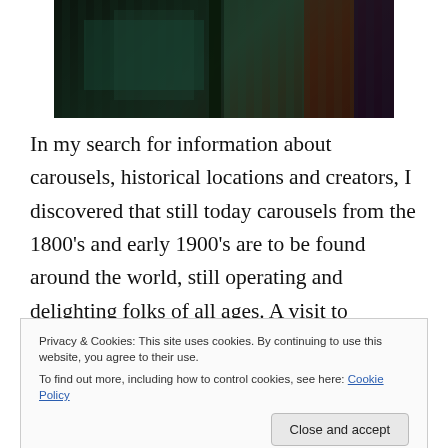[Figure (photo): Partial view of a carousel or fairground structure, dark teal/green painted wooden surface, photographed in low light]
In my search for information about carousels, historical locations and creators, I discovered that still today carousels from the 1800's and early 1900's are to be found around the world, still operating and delighting folks of all ages. A visit to Wikipedia will give you links to so many places that have information about the carvers, many of them regarded around the globe for their talent in holding the tools just so in their hands to slowly remove
Privacy & Cookies: This site uses cookies. By continuing to use this website, you agree to their use.
To find out more, including how to control cookies, see here: Cookie Policy